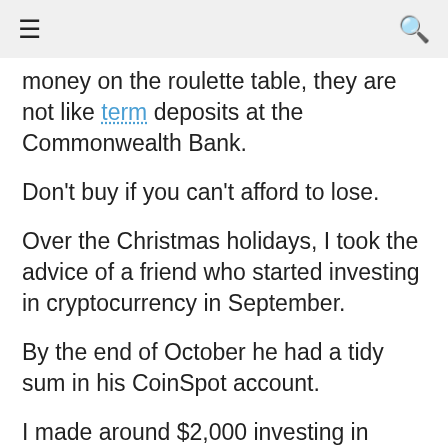≡  🔍
money on the roulette table, they are not like term deposits at the Commonwealth Bank.
Don't buy if you can't afford to lose.
Over the Christmas holidays, I took the advice of a friend who started investing in cryptocurrency in September.
By the end of October he had a tidy sum in his CoinSpot account.
I made around $2,000 investing in cryptocurrency. At one point it was $3,500, but I didn't get out fast enough. My total